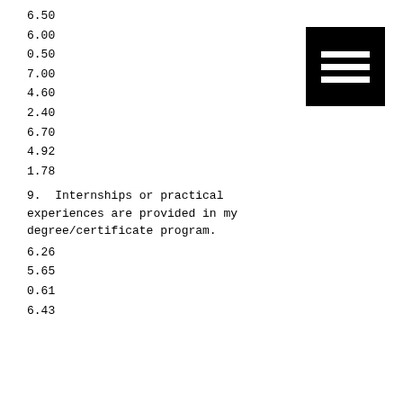6.50
6.00
0.50
7.00
4.60
2.40
6.70
4.92
1.78
9. Internships or practical experiences are provided in my degree/certificate program.
6.26
5.65
0.61
6.43
[Figure (other): Black square icon with three horizontal white bars (hamburger/menu icon)]